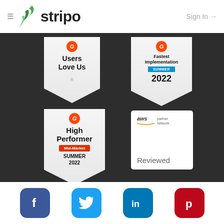[Figure (logo): Stripo website header with hamburger menu icon, Stripo logo (green lightning bolt + stripo text), and Sign In arrow link]
[Figure (infographic): Dark background section with four award badges: G2 Users Love Us badge, G2 Fastest Implementation Summer 2022 badge, G2 High Performer Mid-Market Summer 2022 badge, and AWS Partner Network Reviewed badge]
[Figure (infographic): Footer social media icons: Facebook (blue), Twitter (light blue), LinkedIn (blue), Pinterest (red)]